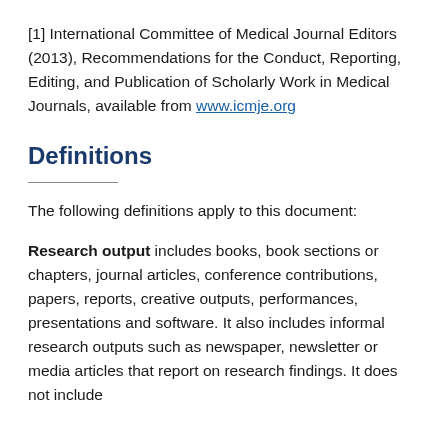[1] International Committee of Medical Journal Editors (2013), Recommendations for the Conduct, Reporting, Editing, and Publication of Scholarly Work in Medical Journals, available from www.icmje.org
Definitions
The following definitions apply to this document:
Research output includes books, book sections or chapters, journal articles, conference contributions, papers, reports, creative outputs, performances, presentations and software. It also includes informal research outputs such as newspaper, newsletter or media articles that report on research findings. It does not include